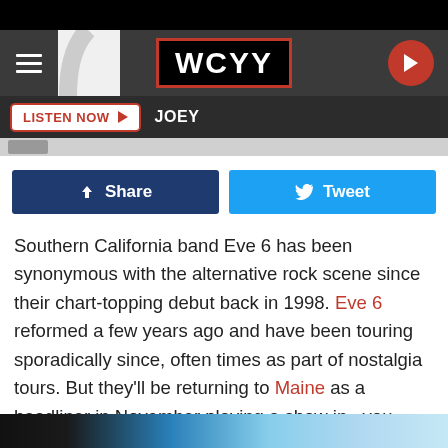[Figure (screenshot): WCYY radio station website header with hamburger menu, WCYY logo in black box with red border, and red play button circle on right]
[Figure (screenshot): Listen Now button in red and white with play triangle, followed by JOEY text in white on dark bar]
[Figure (screenshot): Facebook Share button (dark blue) and Twitter Tweet button (light blue)]
Southern California band Eve 6 has been synonymous with the alternative rock scene since their chart-topping debut back in 1998. Eve 6 reformed a few years ago and have been touring sporadically since, often times as part of nostalgia tours. But they'll be returning to Maine as a headliner in November playing a show in...you guessed it...Hermon, Maine.
[Figure (photo): Bottom strip showing partial image of performers in blue tones]